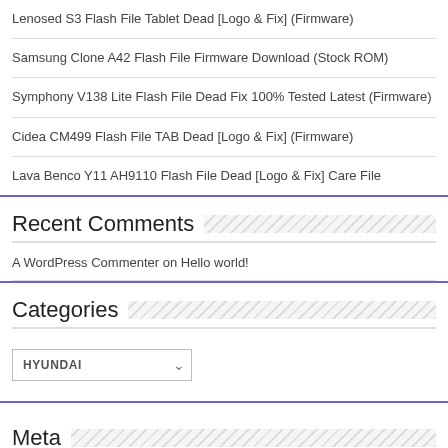Lenosed S3 Flash File Tablet Dead [Logo & Fix] (Firmware)
Samsung Clone A42 Flash File Firmware Download (Stock ROM)
Symphony V138 Lite Flash File Dead Fix 100% Tested Latest (Firmware)
Cidea CM499 Flash File TAB Dead [Logo & Fix] (Firmware)
Lava Benco Y11 AH9110 Flash File Dead [Logo & Fix] Care File
Recent Comments
A WordPress Commenter on Hello world!
Categories
HYUNDAI
Meta